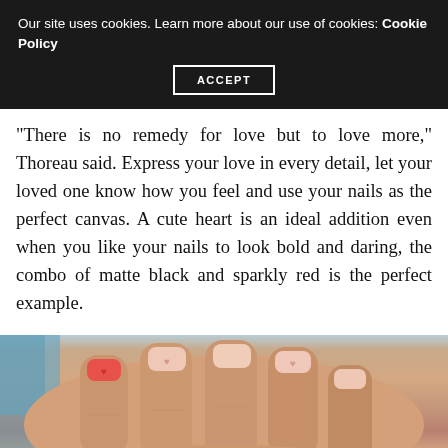Our site uses cookies. Learn more about our use of cookies: Cookie Policy
ACCEPT
“There is no remedy for love but to love more,” Thoreau said. Express your love in every detail, let your loved one know how you feel and use your nails as the perfect canvas. A cute heart is an ideal addition even when you like your nails to look bold and daring, the combo of matte black and sparkly red is the perfect example.
[Figure (photo): Close-up photo of a hand with painted nails showing heart nail art designs, matte and sparkly finishes on multiple fingers.]